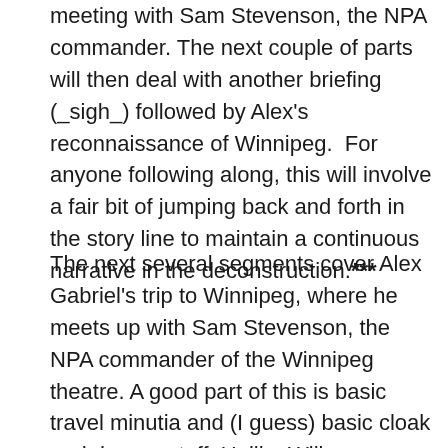meeting with Sam Stevenson, the NPA commander. The next couple of parts will then deal with another briefing (_sigh_) followed by Alex's reconnaissance of Winnipeg.  For anyone following along, this will involve a fair bit of jumping back and forth in the story line to maintain a continuous narrative in the deconstruction.***
The next several segments cover Alex Gabriel's trip to Winnipeg, where he meets up with Sam Stevenson, the NPA commander of the Winnipeg theatre. A good part of this is basic travel minutia and (I guess) basic cloak and dagger stuff. Unlike Will Boucanier's arrival at Chisasibi, Alex Gabriel's